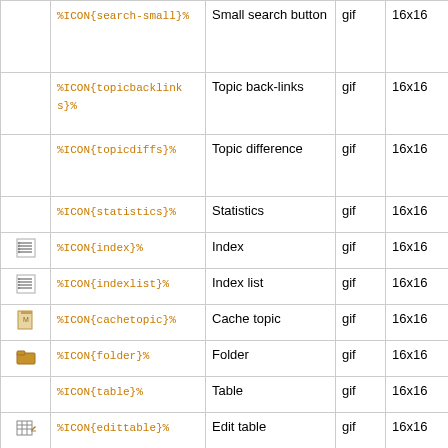| Icon | Variable | Description | Type | Size |
| --- | --- | --- | --- | --- |
|  | %ICON{search-small}% | Small search button | gif | 16x16 |
|  | %ICON{topicbacklinks}% | Topic back-links | gif | 16x16 |
|  | %ICON{topicdiffs}% | Topic difference | gif | 16x16 |
|  | %ICON{statistics}% | Statistics | gif | 16x16 |
| [index icon] | %ICON{index}% | Index | gif | 16x16 |
| [indexlist icon] | %ICON{indexlist}% | Index list | gif | 16x16 |
| [cachetopic icon] | %ICON{cachetopic}% | Cache topic | gif | 16x16 |
| [folder icon] | %ICON{folder}% | Folder | gif | 16x16 |
|  | %ICON{table}% | Table | gif | 16x16 |
| [edittable icon] | %ICON{edittable}% | Edit table | gif | 16x16 |
|  | %ICON{uweb-bo}% | UWEB (Universal Wiki Edit Button), blue, outline | gif | 16x16 |